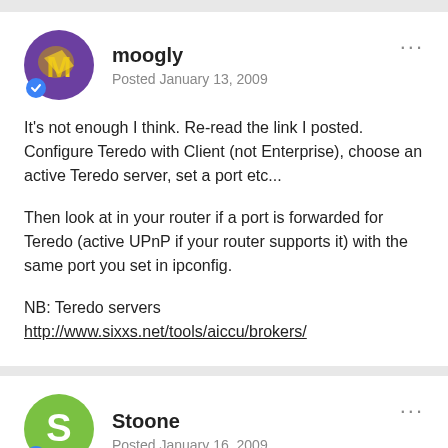moogly
Posted January 13, 2009
It's not enough I think. Re-read the link I posted. Configure Teredo with Client (not Enterprise), choose an active Teredo server, set a port etc...
Then look at in your router if a port is forwarded for Teredo (active UPnP if your router supports it) with the same port you set in ipconfig.
NB: Teredo servers http://www.sixxs.net/tools/aiccu/brokers/
Stoone
Posted January 16, 2009
I dont know router's password. I send my IPS mail and IPS put my PC in DMZ. And now sometimes utorrent show Got teredo address,but often no. Once I connect with other Ipv6 Teredo connection isnt